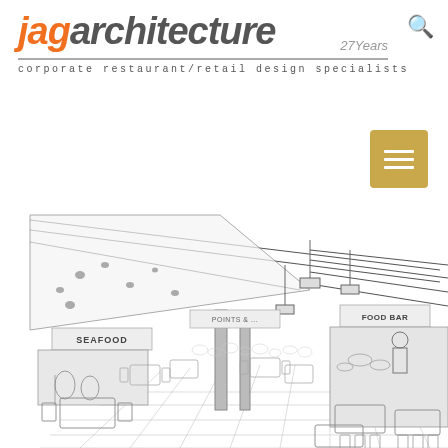jagarchitecture 27 years — corporate restaurant/retail design specialists
[Figure (illustration): Line drawing / architectural sketch of a food court interior with sections labeled SEAFOOD and FOOD BAR, showing ceiling beams, pendant lights, dining tables, display counters, and tiled flooring in perspective view.]